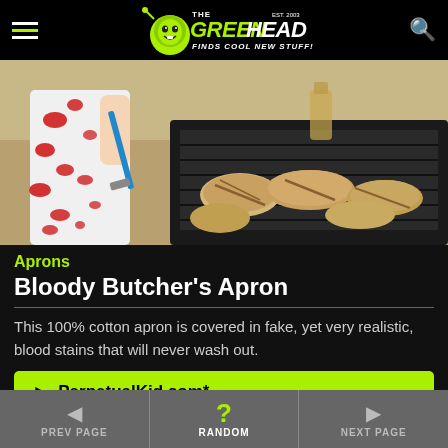The Green Head - Finds Cool New Stuff!
[Figure (photo): Person wearing a white apron with red blood stain pattern, using a spatula to cook chicken breasts on a grill]
Aprons
Bloody Butcher's Apron
This 100% cotton apron is covered in fake, yet very realistic, blood stains that will never wash out.
► PerpetualKid.com*
PREV PAGE | RANDOM | NEXT PAGE